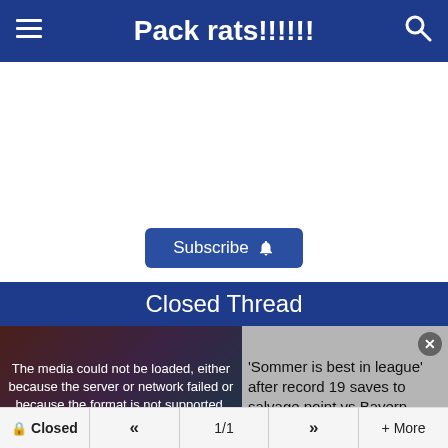Pack rats!!!!!!
[Figure (screenshot): Subscribe button with bell icon]
Closed Thread
[Figure (screenshot): Media player with error: The media could not be loaded, either because the server or network failed or because the format is not supported.]
'Sommer is best in league' after record 19 saves to salvage point vs Bayern
Closed  <<  1/1  >>  + More